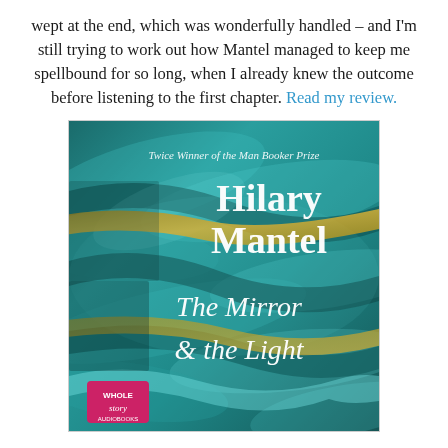wept at the end, which was wonderfully handled – and I'm still trying to work out how Mantel managed to keep me spellbound for so long, when I already knew the outcome before listening to the first chapter. Read my review.
[Figure (photo): Audiobook cover for 'The Mirror & the Light' by Hilary Mantel. Teal/turquoise abstract background with gold diagonal streaks. Text reads: 'Twice Winner of the Man Booker Prize', 'Hilary Mantel', 'The Mirror & the Light'. Bottom left shows 'Whole Story Audiobooks' logo in pink/magenta.]